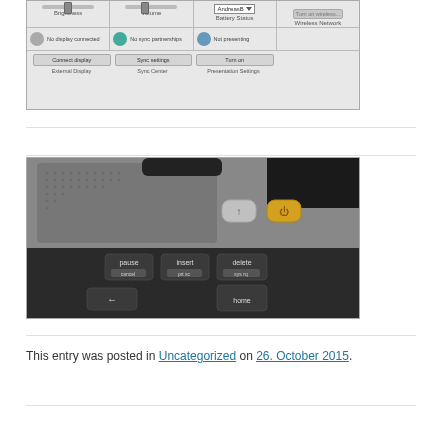[Figure (screenshot): Windows Mobile Device Center screenshot showing Brightness, Volume, Battery Status, Wireless Network controls, External Display, Sync Center, and Presentation Settings panels with AndreasB user dropdown]
[Figure (photo): Close-up photo of a laptop keyboard corner showing pause, insert, delete, home keys and two hardware buttons (wireless and power indicator) on a silver chassis]
This entry was posted in Uncategorized on 26. October 2015.